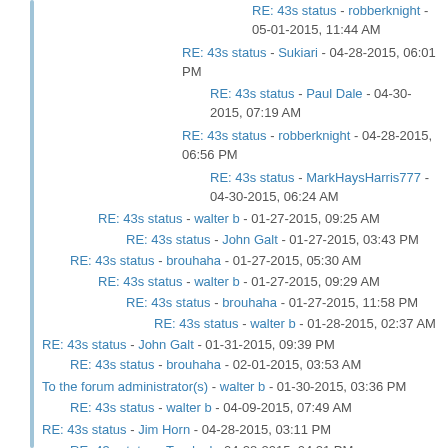RE: 43s status - robberknight - 05-01-2015, 11:44 AM
RE: 43s status - Sukiari - 04-28-2015, 06:01 PM
RE: 43s status - Paul Dale - 04-30-2015, 07:19 AM
RE: 43s status - robberknight - 04-28-2015, 06:56 PM
RE: 43s status - MarkHaysHarris777 - 04-30-2015, 06:24 AM
RE: 43s status - walter b - 01-27-2015, 09:25 AM
RE: 43s status - John Galt - 01-27-2015, 03:43 PM
RE: 43s status - brouhaha - 01-27-2015, 05:30 AM
RE: 43s status - walter b - 01-27-2015, 09:29 AM
RE: 43s status - brouhaha - 01-27-2015, 11:58 PM
RE: 43s status - walter b - 01-28-2015, 02:37 AM
RE: 43s status - John Galt - 01-31-2015, 09:39 PM
RE: 43s status - brouhaha - 02-01-2015, 03:53 AM
To the forum administrator(s) - walter b - 01-30-2015, 03:36 PM
RE: 43s status - walter b - 04-09-2015, 07:49 AM
RE: 43s status - Jim Horn - 04-28-2015, 03:11 PM
RE: 43s status - Tugdual - 04-28-2015, 04:21 PM
RE: 43s status - BobVA - 07-04-2015, 03:15 AM
RE: 43s status - sa-penguin - 07-04-2015, 05:46 AM
RE: 43s status - Sukiari - 07-04-2015, 09:41 PM